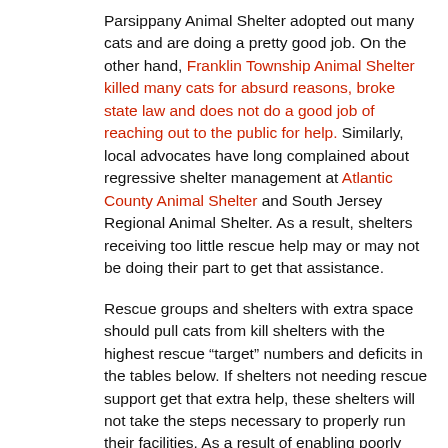Parsippany Animal Shelter adopted out many cats and are doing a pretty good job. On the other hand, Franklin Township Animal Shelter killed many cats for absurd reasons, broke state law and does not do a good job of reaching out to the public for help. Similarly, local advocates have long complained about regressive shelter management at Atlantic County Animal Shelter and South Jersey Regional Animal Shelter. As a result, shelters receiving too little rescue help may or may not be doing their part to get that assistance.
Rescue groups and shelters with extra space should pull cats from kill shelters with the highest rescue “target” numbers and deficits in the tables below. If shelters not needing rescue support get that extra help, these shelters will not take the steps necessary to properly run their facilities. As a result of enabling poorly performing shelters and not pulling cats from truly space constrained facilities, rescuing cats from shelters with enough space leads to less lifesaving.
Shelters receiving less than needed rescue support should also examine their own policies and performance. Are the